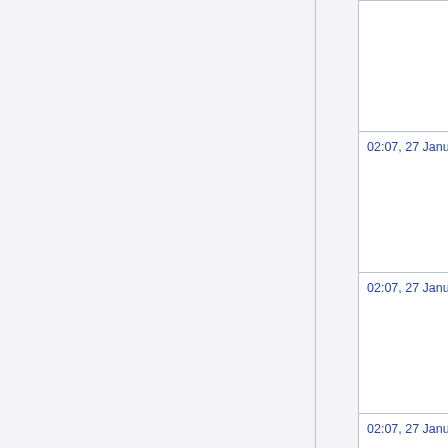|  | Date | Image |
| --- | --- | --- |
|  |  |  |
|  | 02:07, 27 January 2008 | [emoji image] |
|  | 02:07, 27 January 2008 | [emoji image] |
|  | 02:07, 27 January 2008 | [emoji image] |
|  |  |  |